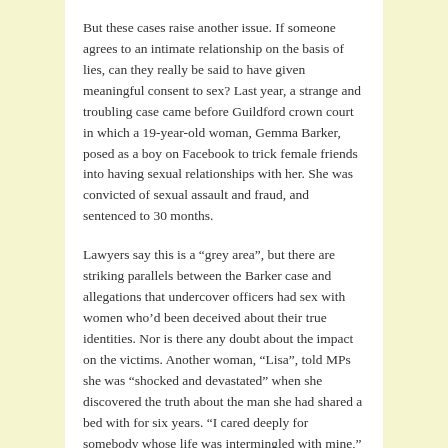But these cases raise another issue. If someone agrees to an intimate relationship on the basis of lies, can they really be said to have given meaningful consent to sex? Last year, a strange and troubling case came before Guildford crown court in which a 19-year-old woman, Gemma Barker, posed as a boy on Facebook to trick female friends into having sexual relationships with her. She was convicted of sexual assault and fraud, and sentenced to 30 months.
Lawyers say this is a “grey area”, but there are striking parallels between the Barker case and allegations that undercover officers had sex with women who’d been deceived about their true identities. Nor is there any doubt about the impact on the victims. Another woman, “Lisa”, told MPs she was “shocked and devastated” when she discovered the truth about the man she had shared a bed with for six years. “I cared deeply for somebody whose life was intermingled with mine,” she said bleakly, “and that person’s life story is a fiction.”